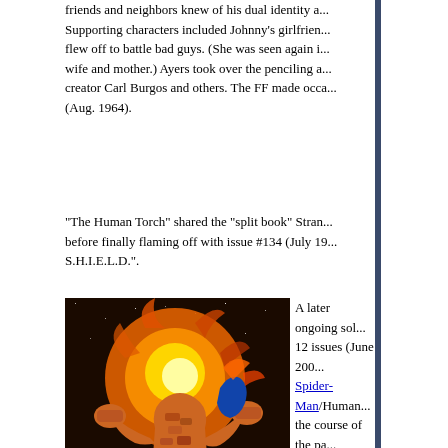friends and neighbors knew of his dual identity a... Supporting characters included Johnny's girlfrien... flew off to battle bad guys. (She was seen again i... wife and mother.) Ayers took over the penciling a... creator Carl Burgos and others. The FF made occa... (Aug. 1964).
"The Human Torch" shared the "split book" Stran... before finally flaming off with issue #134 (July 19... S.H.I.E.L.D.".
[Figure (illustration): Comic book cover art showing superhero characters including The Thing in a dynamic battle scene with fire and debris. Cover of Fantastic Four #572.]
FANTASTIC FOUR #572- SIGNED BY JONATHAN HICKMAN
$19.99 | Information
A later ongoing sol... 12 issues (June 200... Spider-Man/Human... the course of the pa...
The Thing solo
The "ever-lovin", bl... two team-up issues ... success, he was give... Marvel heroes not o... alongside the Libert... realities. The series ... (1976-1982), and wa... June 1986). Another... 2006).
For a list including...